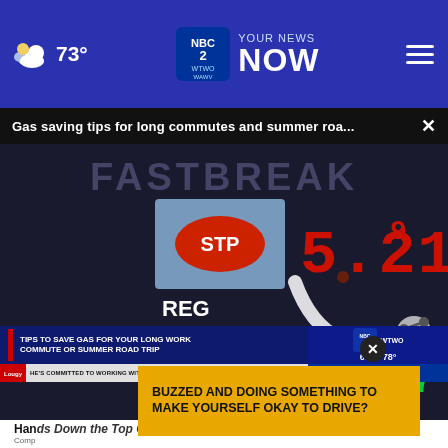73° | WTWO WAWV NBC2 YOUR NEWS NOW | ≡
Gas saving tips for long commutes and summer roa... ×
[Figure (screenshot): Gas station price sign showing REG 5.21 9/10 and AUTO 5.57 9/10 in red and green LED digits, with STP logo visible. Lower-third chyron overlay: TIPS TO SAVE GAS FOR YOUR LONG WORK COMMUTE OR SUMMER ROAD TRIP. Ticker: HE'S COMMITTED TO WORKING WITH LEGISLATIVE LEADERS IN ORDER TO CALL A... YOUR NEWS NOW. Time: 6:02, Temp: 78°]
Hands Down the Top Credit Card of 2022
Comp
BUZZED AND DOING SOMETHING TO MAKE YOURSELF OKAY TO DRIVE?